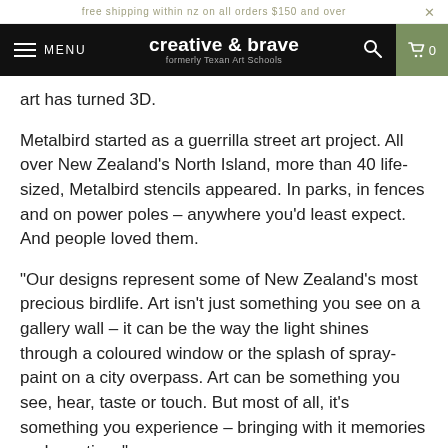free shipping within nz on all orders $150 and over
[Figure (screenshot): Navigation bar with hamburger menu icon, MENU text, 'creative & brave / formerly Texan Art Schools' brand name, search icon, and cart icon with olive green background showing 0 items]
art has turned 3D.
Metalbird started as a guerrilla street art project. All over New Zealand's North Island, more than 40 life-sized, Metalbird stencils appeared. In parks, in fences and on power poles – anywhere you'd least expect. And people loved them.
"Our designs represent some of New Zealand's most precious birdlife. Art isn't just something you see on a gallery wall – it can be the way the light shines through a coloured window or the splash of spray-paint on a city overpass. Art can be something you see, hear, taste or touch. But most of all, it's something you experience – bringing with it memories and emotions"